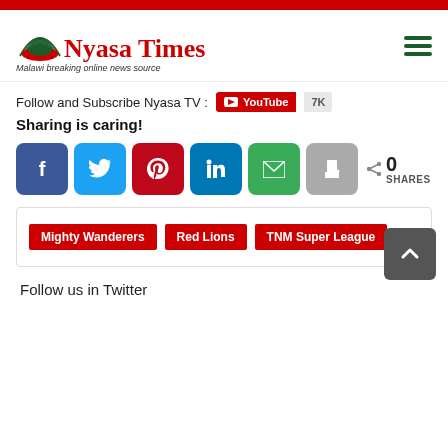[Figure (logo): Nyasa Times logo with arc/dome graphic and tagline 'Malawi breaking online news source']
Follow and Subscribe Nyasa TV : YouTube 7K
Sharing is caring!
[Figure (infographic): Social sharing buttons: Facebook, Twitter, Pinterest, LinkedIn, Email, Print, plus 0 SHARES counter]
Mighty Wanderers  Red Lions  TNM Super League
Follow us in Twitter